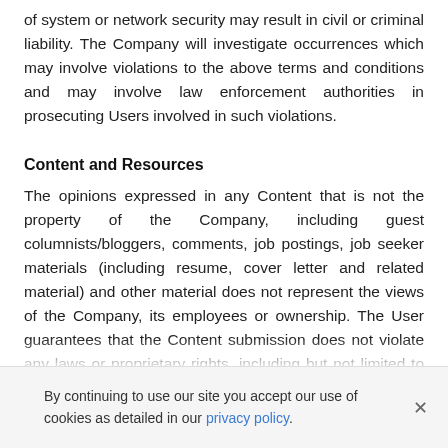of system or network security may result in civil or criminal liability. The Company will investigate occurrences which may involve violations to the above terms and conditions and may involve law enforcement authorities in prosecuting Users involved in such violations.
Content and Resources
The opinions expressed in any Content that is not the property of the Company, including guest columnists/bloggers, comments, job postings, job seeker materials (including resume, cover letter and related material) and other material does not represent the views of the Company, its employees or ownership. The User guarantees that the Content submission does not violate any laws or proprietary rights, including but not limited to copyright, trademark, obscenity, rights of publicity or privacy and defamation laws. The User
By continuing to use our site you accept our use of cookies as detailed in our privacy policy.